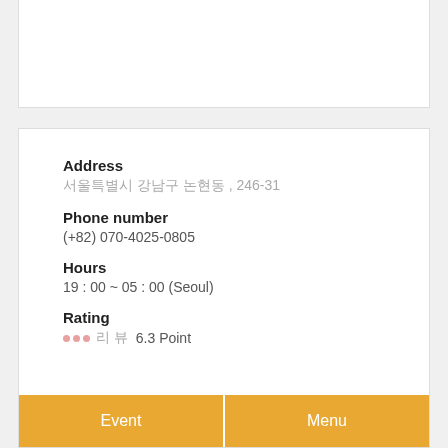Address
서울특별시 강남구 논현동 , 246-31
Phone number
(+82) 070-4025-0805
Hours
19 : 00 ~ 05 : 00 (Seoul)
Rating
... 리뷰 6.3 Point
Event
Menu